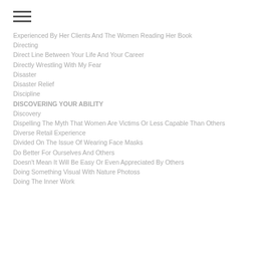Experienced By Her Clients And The Women Reading Her Book
Directing
Direct Line Between Your Life And Your Career
Directly Wrestling With My Fear
Disaster
Disaster Relief
Discipline
DISCOVERING YOUR ABILITY
Discovery
Dispelling The Myth That Women Are Victims Or Less Capable Than Others
Diverse Retail Experience
Divided On The Issue Of Wearing Face Masks
Do Better For Ourselves And Others
Doesn't Mean It Will Be Easy Or Even Appreciated By Others
Doing Something Visual With Nature Photoss
Doing The Inner Work